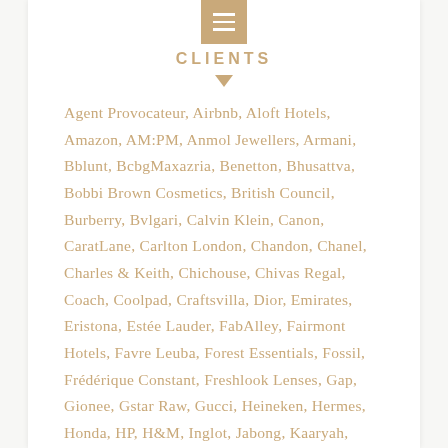CLIENTS
Agent Provocateur, Airbnb, Aloft Hotels, Amazon, AM:PM, Anmol Jewellers, Armani, Bblunt, BcbgMaxazria, Benetton, Bhusattva, Bobbi Brown Cosmetics, British Council, Burberry, Bvlgari, Calvin Klein, Canon, CaratLane, Carlton London, Chandon, Chanel, Charles & Keith, Chichouse, Chivas Regal, Coach, Coolpad, Craftsvilla, Dior, Emirates, Eristona, Estée Lauder, FabAlley, Fairmont Hotels, Favre Leuba, Forest Essentials, Fossil, Frédérique Constant, Freshlook Lenses, Gap, Gionee, Gstar Raw, Gucci, Heineken, Hermes, Honda, HP, H&M, Inglot, Jabong, Kaaryah, Kama Ayurveda, Kenneth Cole, Khanna Jewellers, Koovs, Lancome, La Roche Posay, Lebua Hotels, Le Meridien, Le Mill, Lifestyle, L'Occitane, Longines, Lotto Sport, Louis